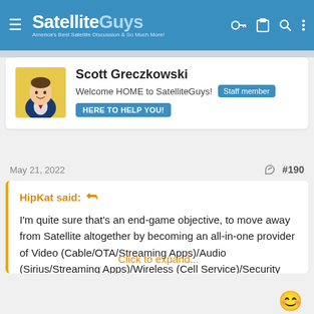SatelliteGuys — America's Best Satellite Discussion & So Much More!
Scott Greczkowski
Welcome HOME to SatelliteGuys! [Staff member]
[HERE TO HELP YOU!]
May 21, 2022  #190
HipKat said: ↩

I'm quite sure that's an end-game objective, to move away from Satellite altogether by becoming an all-in-one provider of Video (Cable/OTA/Streaming Apps)/Audio (Sirius/Streaming Apps)/Wireless (Cell Service)/Security (ADT, Nest, SimpliSafe)/Smart Home services (Google Assistant/Works-with-

Click to expand...